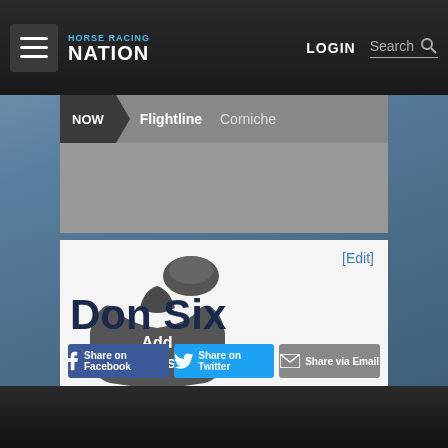Horse Racing Nation — LOGIN | Search
NOW > Flightline   Corniche
[Figure (screenshot): Horse Racing Nation website screenshot showing a horse profile page for 'Don Six' with jockey silks placeholder icon, promotional text, share buttons, and navigation.]
Breed, Own & Train horses like Don Six in DerbyVille!
Don Six
Share on Facebook   Share on Twitter   Share via Email